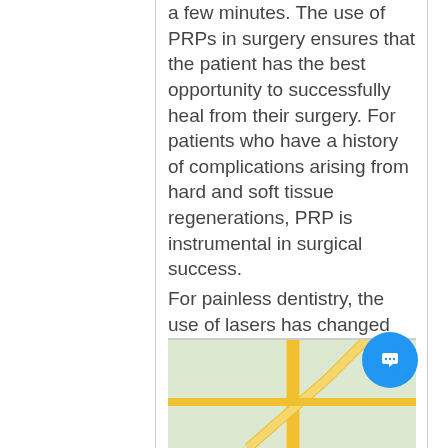a few minutes. The use of PRPs in surgery ensures that the patient has the best opportunity to successfully heal from their surgery. For patients who have a history of complications arising from hard and soft tissue regenerations, PRP is instrumental in surgical success. For painless dentistry, the use of lasers has changed our practice. We utilize soft tissue diode lasers for the treatment of mouth ulcers, aphthous ulcers, cold sores, herpes, fibroma removal, tongue-tied infants, frenectomies, peri-implantitis, as well as laser pocket disinfection for gum disease. We know that your comfort, affordability, and attention to detail is what you look for in a dentist near me in Nicholasville ky.
[Figure (map): A map snippet showing roads near Nicholasville, KY with yellow roads on a green background.]